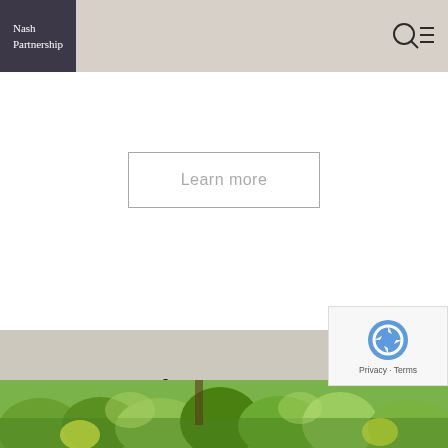Nash Partnership
Learn more
Journal & News
[Figure (photo): Garden photo showing lush green hedges and topiary, with various trees and shrubs in a landscaped garden setting]